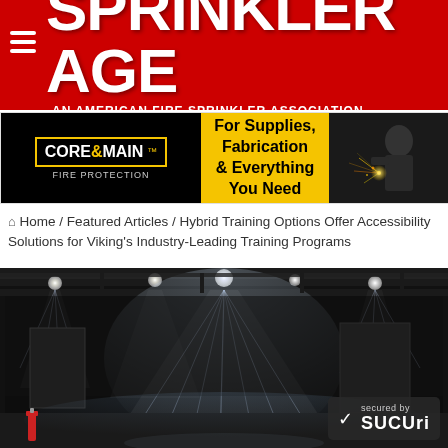SPRINKLER AGE — AN AMERICAN FIRE SPRINKLER ASSOCIATION PUBLICATION
[Figure (infographic): Core & Main Fire Protection advertisement banner: black section with Core & Main logo, yellow section with text 'For Supplies, Fabrication & Everything You Need', and a photo of a welder on the right.]
Home / Featured Articles / Hybrid Training Options Offer Accessibility Solutions for Viking's Industry-Leading Training Programs
[Figure (photo): Dark industrial interior showing fire sprinkler heads spraying water mist from ceiling pipes in a large dark room, with bright overhead lights visible. A fire extinguisher is visible in the lower left corner. A 'secured by Sucuri' badge appears in the lower right.]